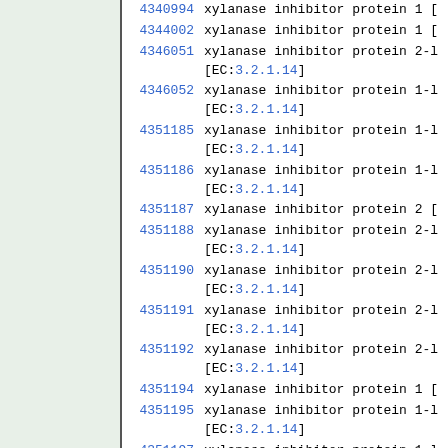| ID | Description |
| --- | --- |
| 4340994 | xylanase inhibitor protein 1 [ |
| 4344002 | xylanase inhibitor protein 1 [ |
| 4346051 | xylanase inhibitor protein 2-l [EC:3.2.1.14] |
| 4346052 | xylanase inhibitor protein 1-l [EC:3.2.1.14] |
| 4351185 | xylanase inhibitor protein 1-l [EC:3.2.1.14] |
| 4351186 | xylanase inhibitor protein 1-l [EC:3.2.1.14] |
| 4351187 | xylanase inhibitor protein 2 [ |
| 4351188 | xylanase inhibitor protein 2-l [EC:3.2.1.14] |
| 4351190 | xylanase inhibitor protein 2-l [EC:3.2.1.14] |
| 4351191 | xylanase inhibitor protein 2-l [EC:3.2.1.14] |
| 4351192 | xylanase inhibitor protein 2-l [EC:3.2.1.14] |
| 4351194 | xylanase inhibitor protein 1 [ |
| 4351195 | xylanase inhibitor protein 1-l [EC:3.2.1.14] |
| 4351197 | xylanase inhibitor protein 1-l [EC:3.2.1.14] |
| 4351198 | xylanase inhibitor protein 1-l [EC:3.2.1.14] |